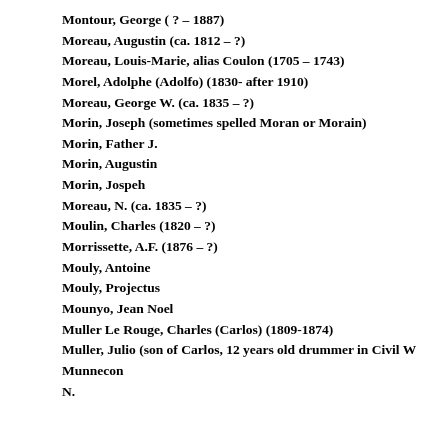Montour, George ( ? – 1887)
Moreau, Augustin (ca. 1812 – ?)
Moreau, Louis-Marie, alias Coulon (1705 – 1743)
Morel, Adolphe (Adolfo) (1830- after 1910)
Moreau, George W. (ca. 1835 – ?)
Morin, Joseph (sometimes spelled Moran or Morain)
Morin, Father J.
Morin, Augustin
Morin, Jospeh
Moreau, N. (ca. 1835 – ?)
Moulin, Charles (1820 – ?)
Morrissette, A.F. (1876 – ?)
Mouly, Antoine
Mouly, Projectus
Mounyo, Jean Noel
Muller Le Rouge, Charles (Carlos) (1809-1874)
Muller, Julio (son of Carlos, 12 years old drummer in Civil W
Munnecon
N.